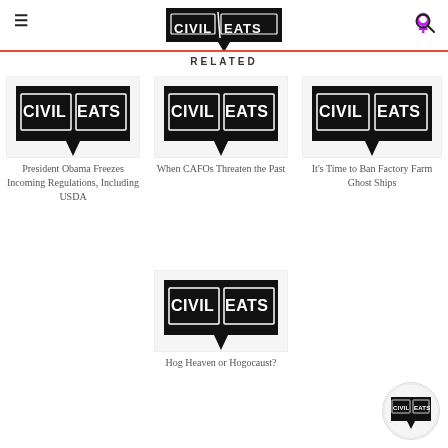Civil Eats
RELATED
[Figure (logo): Civil Eats logo thumbnail for article: President Obama Freezes Incoming Regulations, Including USDA]
President Obama Freezes Incoming Regulations, Including USDA
[Figure (logo): Civil Eats logo thumbnail for article: When CAFOs Threaten the Past]
When CAFOs Threaten the Past
[Figure (logo): Civil Eats logo thumbnail for article: It's Time to Ban Factory Farm Ghost Ships]
It's Time to Ban Factory Farm Ghost Ships
[Figure (logo): Civil Eats logo thumbnail for article: Hog Heaven or Hogocaust?]
Hog Heaven or Hogocaust?
[Figure (logo): Civil Eats small circle badge logo]